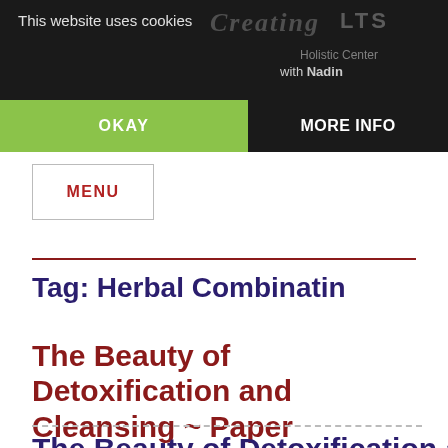This website uses cookies
OKAY
MORE INFO
MENU
Tag: Herbal Combinatin
The Beauty of Detoxification and Cleansing ~ Paper
The Beauty of Detoxification a